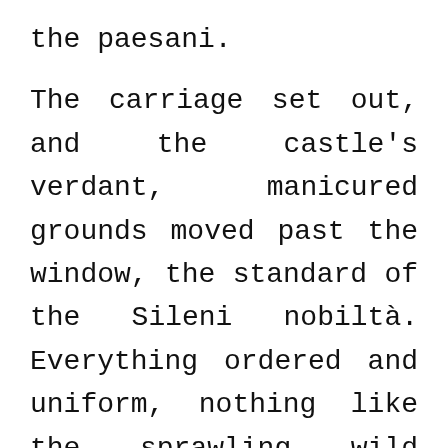the paesani.
The carriage set out, and the castle's verdant, manicured grounds moved past the window, the standard of the Sileni nobiltà. Everything ordered and uniform, nothing like the sprawling wild roses in her daydreams. Not the variegated, messy, beautiful chaos of vines and blooms and ruins.
Leaning back against the seat, Veron rested an ankle on his opposite knee. He looked her over, and when his eyes met